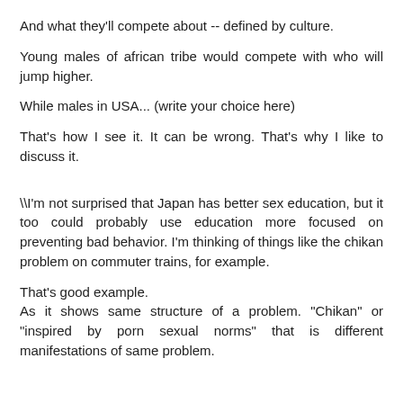And what they'll compete about -- defined by culture.
Young males of african tribe would compete with who will jump higher.
While males in USA... (write your choice here)
That's how I see it. It can be wrong. That's why I like to discuss it.
\I'm not surprised that Japan has better sex education, but it too could probably use education more focused on preventing bad behavior. I'm thinking of things like the chikan problem on commuter trains, for example.
That's good example.
As it shows same structure of a problem. "Chikan" or "inspired by porn sexual norms" that is different manifestations of same problem.